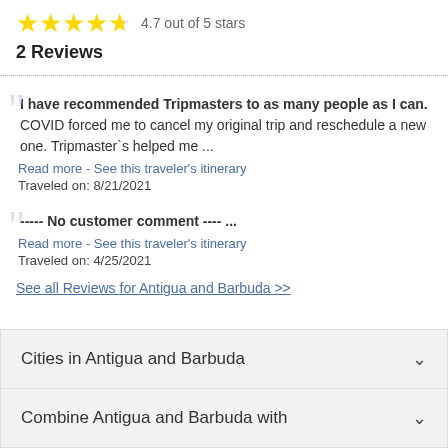[Figure (other): 4.7 out of 5 stars rating shown with 5 yellow stars (last one partially filled)]
2 Reviews
I have recommended Tripmasters to as many people as I can. COVID forced me to cancel my original trip and reschedule a new one. Tripmaster`s helped me ...
Read more - See this traveler's itinerary
Traveled on: 8/21/2021
----- No customer comment ---- ...
Read more - See this traveler's itinerary
Traveled on: 4/25/2021
See all Reviews for Antigua and Barbuda >>
Cities in Antigua and Barbuda
Combine Antigua and Barbuda with